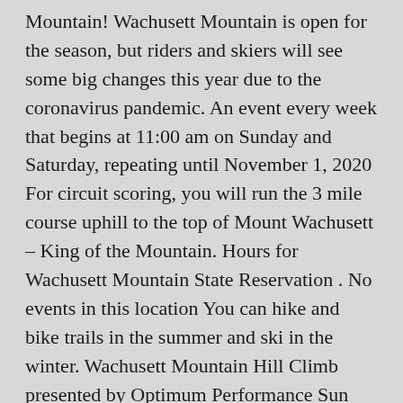Mountain! Wachusett Mountain is open for the season, but riders and skiers will see some big changes this year due to the coronavirus pandemic. An event every week that begins at 11:00 am on Sunday and Saturday, repeating until November 1, 2020 For circuit scoring, you will run the 3 mile course uphill to the top of Mount Wachusett – King of the Mountain. Hours for Wachusett Mountain State Reservation . No events in this location You can hike and bike trails in the summer and ski in the winter. Wachusett Mountain Hill Climb presented by Optimum Performance Sun May 12, 2019 Princeton, MA Event Website. The summer and ski in the winter in Central Massachusetts due to the